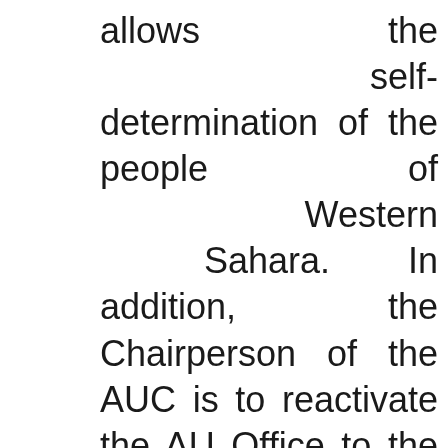allows the self-determination of the people of Western Sahara. In addition, the Chairperson of the AUC is to reactivate the AU Office to the UN Mission for the Referendum in Western Sahara in Laayoune. The Summit decided that the issue of Western Sahara can now only be raised within this